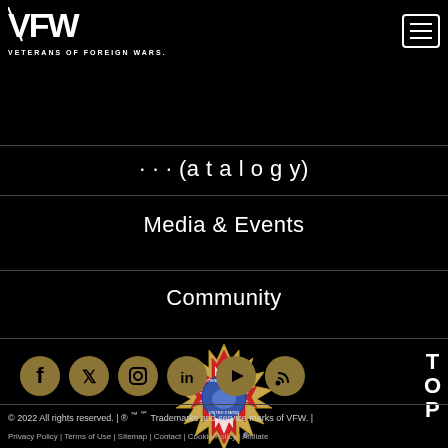[Figure (logo): VFW Veterans of Foreign Wars logo in white text on black background]
Media & Events
Community
[Figure (logo): VFW seal/emblem - Veterans of Foreign Wars of the United States circular badge with eagle]
[Figure (infographic): Social media icons row: Facebook, Twitter, Instagram, LinkedIn, YouTube, RSS - gold circles on black]
© 2022 All rights reserved. | ® ™ ℠ Trademarks and service marks of VFW. | Privacy Policy | Terms of Use | Sitemap | Contact | Cookie Policy | Affiliate
T O P